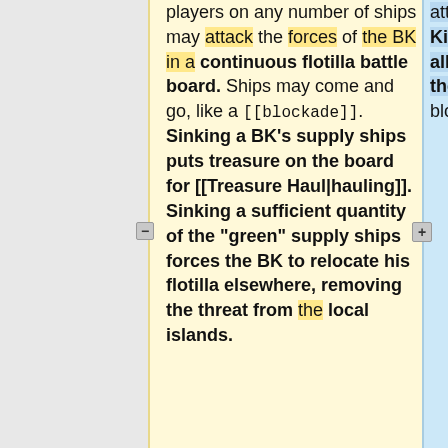players on any number of ships may attack the forces of the BK in a continuous flotilla battle board. Ships may come and go, like a [[blockade]]. Sinking a BK's supply ships puts treasure on the board for [[Treasure Haul|hauling]]. Sinking a sufficient quantity of the "green" supply ships forces the BK to relocate his flotilla elsewhere, removing the threat from the local islands.
attack of a Brigand King, players are not allowed to declare their own intentions to blockade the island.